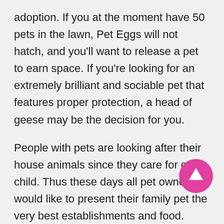adoption. If you at the moment have 50 pets in the lawn, Pet Eggs will not hatch, and you'll want to release a pet to earn space. If you're looking for an extremely brilliant and sociable pet that features proper protection, a head of geese may be the decision for you.
People with pets are looking after their house animals since they care for own child. Thus these days all pet owner would like to present their family pet the very best establishments and food. Today, owners always check the chance of having their dogs and cats
[Figure (other): Pink circular button with upward arrow icon (scroll-to-top button)]